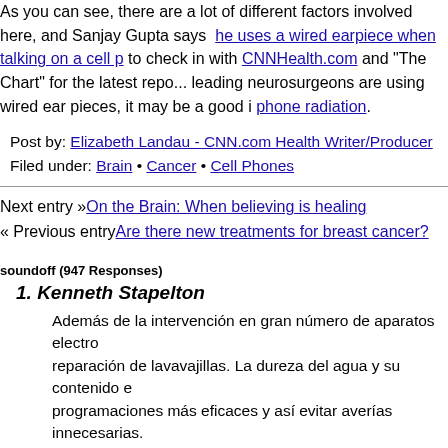As you can see, there are a lot of different factors involved here, and Sanjay Gupta says he uses a wired earpiece when talking on a cell p... to check in with CNNHealth.com and "The Chart" for the latest repo... leading neurosurgeons are using wired ear pieces, it may be a good i... phone radiation.
Post by: Elizabeth Landau - CNN.com Health Writer/Producer
Filed under: Brain • Cancer • Cell Phones
Next entry »On the Brain: When believing is healing
« Previous entryAre there new treatments for breast cancer?
soundoff (947 Responses)
1. Kenneth Stapelton
Además de la intervención en gran número de aparatos electro... reparación de lavavajillas. La dureza del agua y su contenido e... programaciones más eficaces y así evitar averías innecesarias. especializado, entre otras tareas, en reparación de frigoríficos.
https://chessdatabase.science/wiki/Cadena_acero_inoxidable_i...
February 1, 2021 at 21:36 | Report abuse | Reply
2. Roy Herby